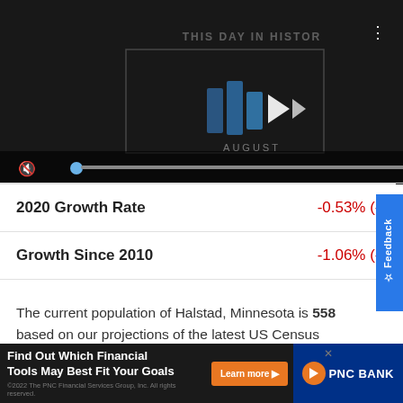[Figure (screenshot): Video player showing 'This Day in History' with play controls, mute icon, progress bar, and fullscreen button on dark background]
This Day in History
|  |  |
| --- | --- |
| 2020 Growth Rate | -0.53% (-3... |
| Growth Since 2010 | -1.06% (-6... |
The current population of Halstad, Minnesota is 558 based on our projections of the latest US Census estimates.The last official US Census in 2020 recorded the population at 564.
[Figure (screenshot): Advertisement: Find Out Which Financial Tools May Best Fit Your Goals - PNC Bank Learn more button]